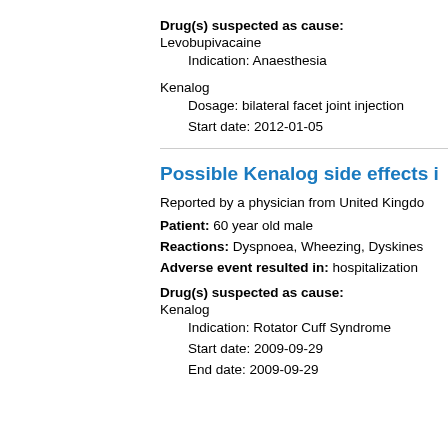Drug(s) suspected as cause:
Levobupivacaine
    Indication: Anaesthesia
Kenalog
    Dosage: bilateral facet joint injection
    Start date: 2012-01-05
Possible Kenalog side effects i...
Reported by a physician from United Kingdo...
Patient: 60 year old male
Reactions: Dyspnoea, Wheezing, Dyskines...
Adverse event resulted in: hospitalization
Drug(s) suspected as cause:
Kenalog
    Indication: Rotator Cuff Syndrome
    Start date: 2009-09-29
    End date: 2009-09-29